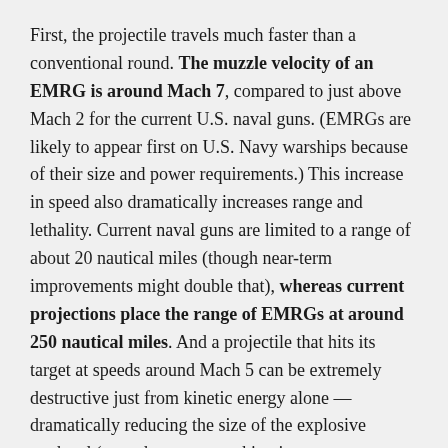First, the projectile travels much faster than a conventional round. The muzzle velocity of an EMRG is around Mach 7, compared to just above Mach 2 for the current U.S. naval guns. (EMRGs are likely to appear first on U.S. Navy warships because of their size and power requirements.) This increase in speed also dramatically increases range and lethality. Current naval guns are limited to a range of about 20 nautical miles (though near-term improvements might double that), whereas current projections place the range of EMRGs at around 250 nautical miles. And a projectile that hits its target at speeds around Mach 5 can be extremely destructive just from kinetic energy alone — dramatically reducing the size of the explosive warhead (or perhaps even making it unnecessary